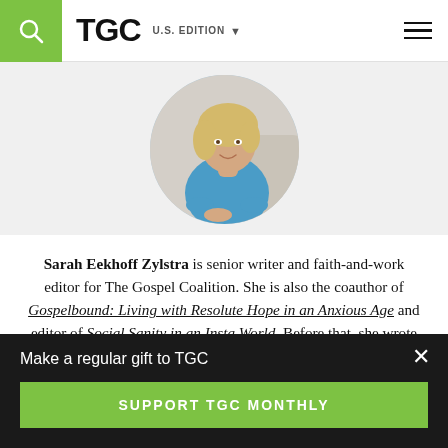TGC U.S. EDITION
[Figure (photo): Circular profile photo of Sarah Eekhoff Zylstra, a woman with blond hair wearing a blue top, seated in a light-colored chair against a white background.]
Sarah Eekhoff Zylstra is senior writer and faith-and-work editor for The Gospel Coalition. She is also the coauthor of Gospelbound: Living with Resolute Hope in an Anxious Age and editor of Social Sanity in an Insta World. Before that, she wrote for
Make a regular gift to TGC
SUPPORT TGC MONTHLY